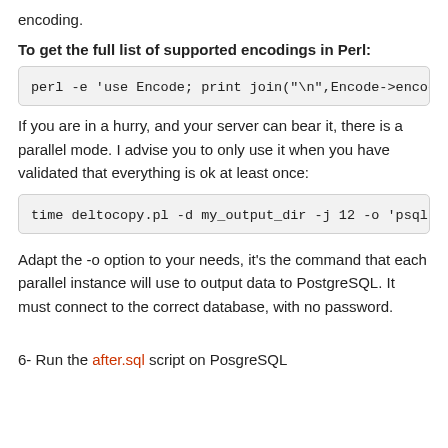encoding.
To get the full list of supported encodings in Perl:
[Figure (screenshot): Code block showing: perl -e 'use Encode; print join("\n",Encode->encodin]
If you are in a hurry, and your server can bear it, there is a parallel mode. I advise you to only use it when you have validated that everything is ok at least once:
[Figure (screenshot): Code block showing: time deltocopy.pl -d my_output_dir -j 12 -o 'psql my]
Adapt the -o option to your needs, it's the command that each parallel instance will use to output data to PostgreSQL. It must connect to the correct database, with no password.
6- Run the after.sql script on PosgreSQL